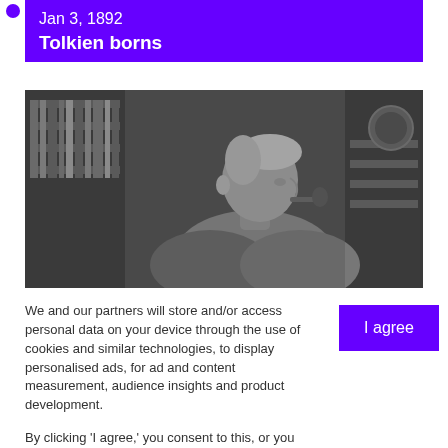Jan 3, 1892
Tolkien borns
[Figure (photo): Black and white photograph of J.R.R. Tolkien, an elderly man in profile, holding a pipe, with bookshelves in the background.]
We and our partners will store and/or access personal data on your device through the use of cookies and similar technologies, to display personalised ads, for ad and content measurement, audience insights and product development.

By clicking 'I agree,' you consent to this, or you can manage your preferences.